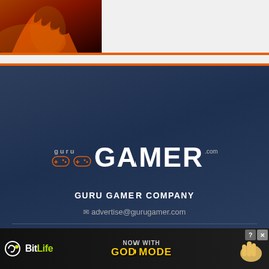[Figure (photo): Gaming scene with fire and dark character, partially visible at top left]
[Figure (logo): GuruGamer.com logo with controller icons and GAMER in large white text]
GURU GAMER COMPANY
✉ advertise@gurugamer.com
ABOUT US
TERMS AND CONDITIONS
SITEMAP
LIKE US ON FACEBOOK
SUBSCRIBE ON YOUTUBE
[Figure (illustration): BitLife ad banner — NOW WITH GOD MODE, with snake icon and hand illustration]